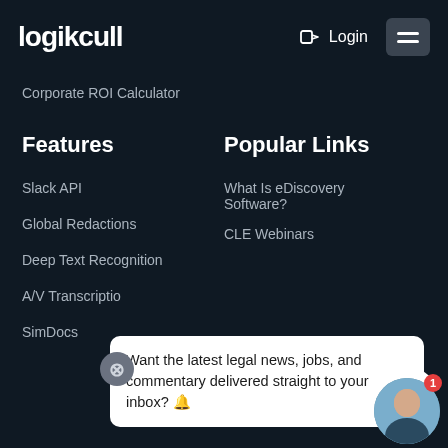logikcull
Login
Corporate ROI Calculator
Features
Popular Links
Slack API
What Is eDiscovery Software?
Global Redactions
CLE Webinars
Deep Text Recognition
A/V Transcriptio…
SimDocs
Want the latest legal news, jobs, and commentary delivered straight to your inbox? 🔔